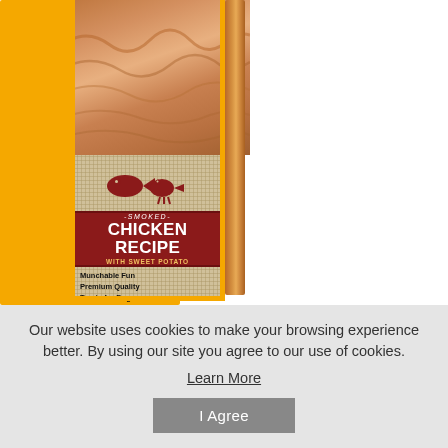[Figure (photo): Product package for Smoked Chicken Recipe with Sweet Potato dog treats. Shows a yellow-bordered package with a dog photo at top, a red label section reading '-SMOKED- CHICKEN RECIPE WITH SWEET POTATO', and a burlap-textured section with text 'Munchable Fun Premium Quality Treats for Dogs'. A treat stick is visible on the right side of the package.]
Our website uses cookies to make your browsing experience better. By using our site you agree to our use of cookies.
Learn More
I Agree